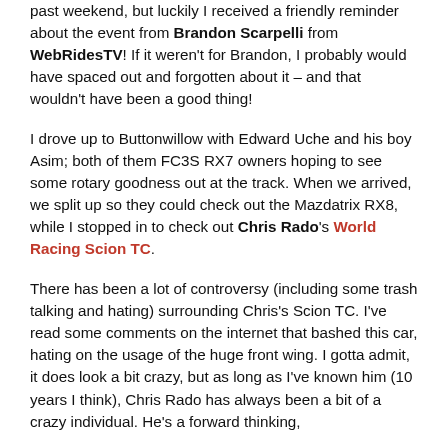past weekend, but luckily I received a friendly reminder about the event from Brandon Scarpelli from WebRidesTV! If it weren't for Brandon, I probably would have spaced out and forgotten about it – and that wouldn't have been a good thing!
I drove up to Buttonwillow with Edward Uche and his boy Asim; both of them FC3S RX7 owners hoping to see some rotary goodness out at the track. When we arrived, we split up so they could check out the Mazdatrix RX8, while I stopped in to check out Chris Rado's World Racing Scion TC.
There has been a lot of controversy (including some trash talking and hating) surrounding Chris's Scion TC. I've read some comments on the internet that bashed this car, hating on the usage of the huge front wing. I gotta admit, it does look a bit crazy, but as long as I've known him (10 years I think), Chris Rado has always been a bit of a crazy individual. He's a forward thinking,